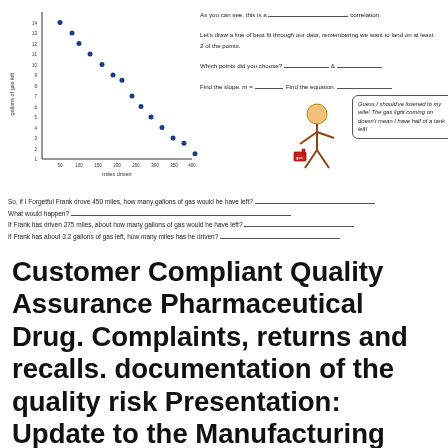[Figure (scatter-plot): Gallons of gas left vs. miles driven]
As you can see, this is a _________ correlation.
Let's draw a line of best fit through our data, remembering we want to land on at least 2 of the points.
Which points did you choose? _________ & _________
Find the slope. m = _____ Find the equation. _____________
Guess I should've listened to my wife! The gas light coming on doesn't mean I have half of a tank left!
So, if I Forgetful Frank drove 450 miles, how many gallons of gas would he have left? ___________________________
What would happen? ___________________________
If Frank has driven 275 miles, about how many gallons of gas would he have left? ___________________________
If Frank has about 3.2 gallons of gas left, how many miles has he driven? ___________________________
Customer Compliant Quality Assurance Pharmaceutical Drug. Complaints, returns and recalls. documentation of the quality risk Presentation: Update to the Manufacturing Principles for Medicinal Products, GOOD DOCUMENTATION AND QUALITY MANAGEMENT PRINCIPLES WHO GMP